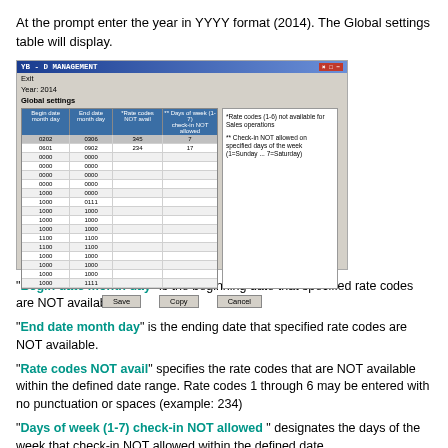At the prompt enter the year in YYYY format (2014).  The Global settings table will display.
[Figure (screenshot): Screenshot of YB-D MANAGEMENT software window showing Global settings table with columns: Begin date month day, End date month day, Rate codes NOT avail, Days of week (1-7) check-in NOT allowed. Two rows of data visible (0202/0306 with 345/7, and 0601/0902 with 234/17), followed by empty rows. Notes panel on right explains Rate codes and Check-in NOT allowed fields. Save, Copy, Cancel buttons at bottom.]
"Begin date month day" is the beginning date that specified rate codes are NOT available.
"End date month day" is the ending date that specified rate codes are NOT available.
"Rate codes NOT avail" specifies the rate codes that are NOT available within the defined date range.  Rate codes 1 through 6 may be entered with no punctuation or spaces (example: 234)
"Days of week (1-7) check-in NOT allowed " designates the days of the week that check-in NOT allowed within the defined date